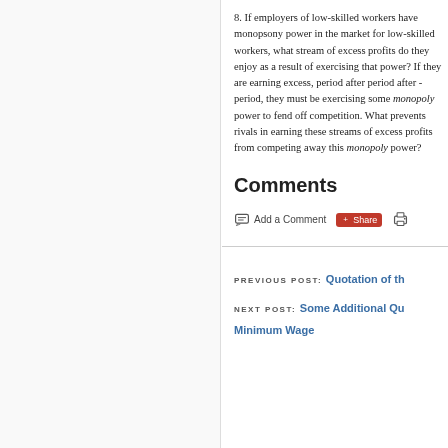8. If employers of low-skilled workers have monopsony power in the market for low-skilled workers, what stream of excess profits do they enjoy as a result of exercising that power? If they are earning excess, period after period after period, they must be exercising some monopoly power to fend off competition. What prevents rivals in earning these streams of excess profits from competing away this monopoly power?
Comments
Add a Comment  Share  [Print]
PREVIOUS POST: Quotation of th...
NEXT POST: Some Additional Qu... Minimum Wage